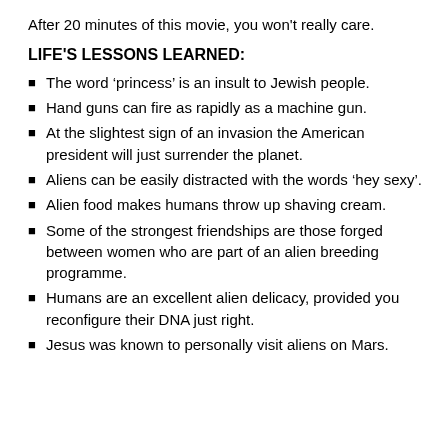After 20 minutes of this movie, you won't really care.
LIFE'S LESSONS LEARNED:
The word 'princess' is an insult to Jewish people.
Hand guns can fire as rapidly as a machine gun.
At the slightest sign of an invasion the American president will just surrender the planet.
Aliens can be easily distracted with the words 'hey sexy'.
Alien food makes humans throw up shaving cream.
Some of the strongest friendships are those forged between women who are part of an alien breeding programme.
Humans are an excellent alien delicacy, provided you reconfigure their DNA just right.
Jesus was known to personally visit aliens on Mars.